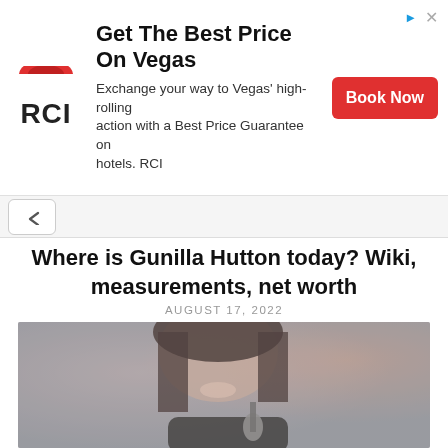[Figure (screenshot): RCI advertisement banner: red bowl logo above bold 'RCI' text, headline 'Get The Best Price On Vegas', subtext 'Exchange your way to Vegas high-rolling action with a Best Price Guarantee on hotels. RCI', and a red 'Book Now' button on the right.]
Where is Gunilla Hutton today? Wiki, measurements, net worth
AUGUST 17, 2022
[Figure (photo): Photo of a woman with dark shoulder-length hair, smiling, holding a microphone, wearing a dark top. The background is blurred with warm colors.]